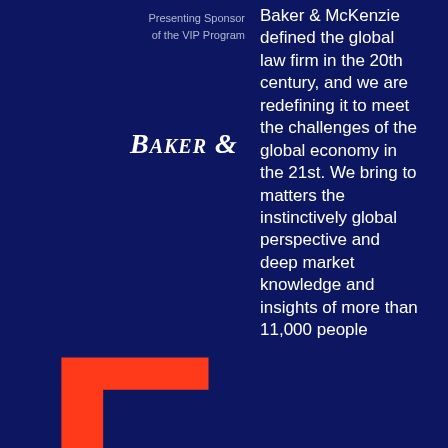Presenting Sponsor of the VIP Program
[Figure (logo): Baker & McKenzie logo text in white serif bold italic font on dark navy background]
Baker & McKenzie defined the global law firm in the 20th century, and we are redefining it to meet the challenges of the global economy in the 21st. We bring to matters the instinctively global perspective and deep market knowledge and insights of more than 11,000 people
[Figure (illustration): Large red letter F on dark navy background, decorative element]